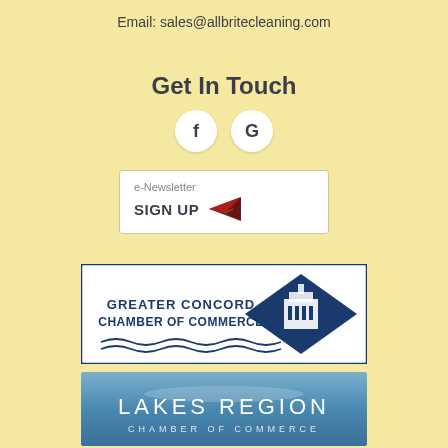Email: sales@allbritecleaning.com
Get In Touch
[Figure (infographic): Two circular social media icon buttons: Facebook (f) and Google (G)]
[Figure (infographic): e-Newsletter SIGN UP button with paper airplane icon]
[Figure (logo): Greater Concord Chamber of Commerce logo with blue diamond building icon and wave design]
[Figure (logo): Lakes Region Chamber of Commerce banner with blue gradient background]